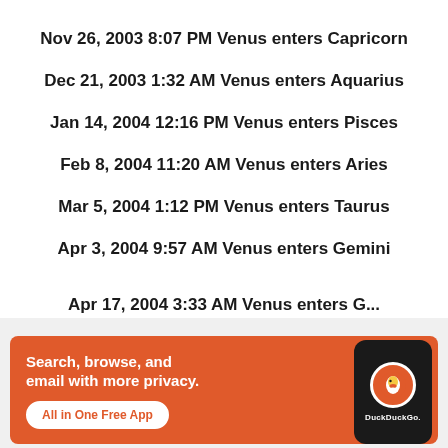Nov 26, 2003 8:07 PM Venus enters Capricorn
Dec 21, 2003 1:32 AM Venus enters Aquarius
Jan 14, 2004 12:16 PM Venus enters Pisces
Feb 8, 2004 11:20 AM Venus enters Aries
Mar 5, 2004 1:12 PM Venus enters Taurus
Apr 3, 2004 9:57 AM Venus enters Gemini
[Figure (screenshot): DuckDuckGo advertisement banner: 'Search, browse, and email with more privacy. All in One Free App' with DuckDuckGo logo and phone graphic on orange background]
Advertisements